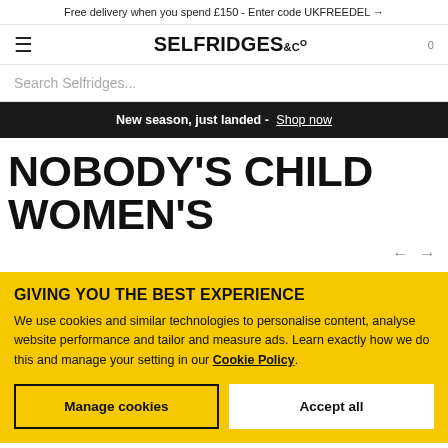Free delivery when you spend £150 - Enter code UKFREEDEL →
[Figure (logo): Selfridges & Co logo with hamburger menu icon and cart count 0]
Search Selfridges...
New season, just landed - Shop now
NOBODY'S CHILD WOMEN'S
GIVING YOU THE BEST EXPERIENCE
We use cookies and similar technologies to personalise content, analyse website performance and tailor and measure ads. Learn exactly how we do this and manage your setting in our Cookie Policy.
Manage cookies | Accept all